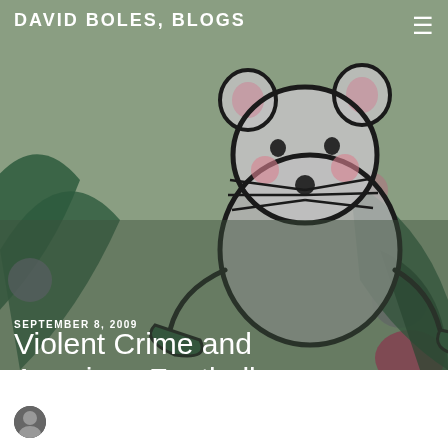DAVID BOLES, BLOGS
[Figure (illustration): Cartoon illustration of a mouse/rat character drawn with thick dark outlines on a muted green background, with pink accent spots and dark green decorative shapes. The mouse has a round grey body, small pink cheeks, and visible whiskers.]
SEPTEMBER 8, 2009
Violent Crime and American Football
by Gordon Davidescu. In Urban Semiotic. 4 Comments